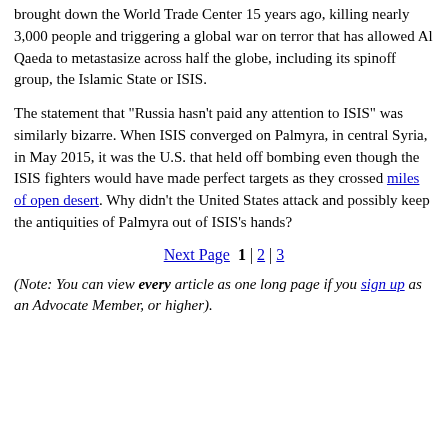brought down the World Trade Center 15 years ago, killing nearly 3,000 people and triggering a global war on terror that has allowed Al Qaeda to metastasize across half the globe, including its spinoff group, the Islamic State or ISIS.
The statement that "Russia hasn't paid any attention to ISIS" was similarly bizarre. When ISIS converged on Palmyra, in central Syria, in May 2015, it was the U.S. that held off bombing even though the ISIS fighters would have made perfect targets as they crossed miles of open desert. Why didn't the United States attack and possibly keep the antiquities of Palmyra out of ISIS's hands?
Next Page  1 | 2 | 3
(Note: You can view every article as one long page if you sign up as an Advocate Member, or higher).